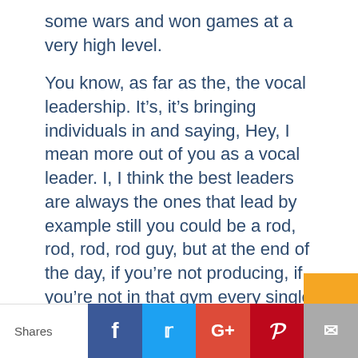some wars and won games at a very high level.
You know, as far as the, the vocal leadership. It’s, it’s bringing individuals in and saying, Hey, I mean more out of you as a vocal leader. I, I think the best leaders are always the ones that lead by example still you could be a rod, rod, rod, rod guy, but at the end of the day, if you’re not producing, if you’re not in that gym every single day I, I question whether or not you’re a leader.
We have a young man that is named Jackson Sartain. He’s shattered every division three, three point record known
Shares  [Facebook] [Twitter] [Google+] [Pinterest] [Mail]